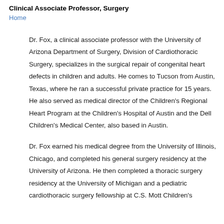Clinical Associate Professor, Surgery
Home
Dr. Fox, a clinical associate professor with the University of Arizona Department of Surgery, Division of Cardiothoracic Surgery, specializes in the surgical repair of congenital heart defects in children and adults. He comes to Tucson from Austin, Texas, where he ran a successful private practice for 15 years. He also served as medical director of the Children's Regional Heart Program at the Children's Hospital of Austin and the Dell Children's Medical Center, also based in Austin.
Dr. Fox earned his medical degree from the University of Illinois, Chicago, and completed his general surgery residency at the University of Arizona. He then completed a thoracic surgery residency at the University of Michigan and a pediatric cardiothoracic surgery fellowship at C.S. Mott Children's